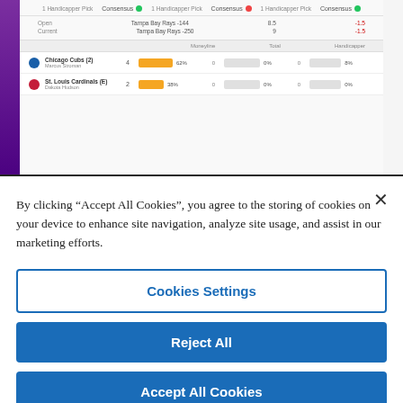[Figure (screenshot): Sports betting interface showing Chicago Cubs vs St. Louis Cardinals matchup with consensus picks, handicapper polls, and progress bars showing percentages (62%, 0%, 8% for Cubs; 38%/0%/0% for Cardinals). Purple sidebar on left.]
[Figure (logo): Documented Records logo with circular black icon containing a yellow 'U' letter and bold text 'DOCUMENTED RECORDS']
By clicking “Accept All Cookies”, you agree to the storing of cookies on your device to enhance site navigation, analyze site usage, and assist in our marketing efforts.
Cookies Settings
Reject All
Accept All Cookies